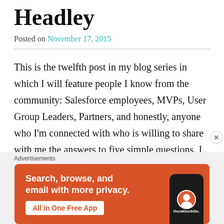Headley
Posted on November 17, 2015
This is the twelfth post in my blog series in which I will feature people I know from the community: Salesforce employees, MVPs, User Group Leaders, Partners, and honestly, anyone who I'm connected with who is willing to share with me the answers to five simple questions. I hoping that this blog series will help everyone out in the community get better connected to others who are either like them, can help them, are nothing like them, can't help
[Figure (infographic): DuckDuckGo advertisement banner: orange background with text 'Search, browse, and email with more privacy. All in One Free App' and a phone mockup with DuckDuckGo logo]